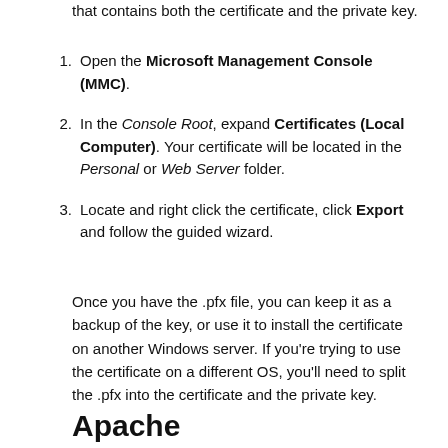that contains both the certificate and the private key.
Open the Microsoft Management Console (MMC).
In the Console Root, expand Certificates (Local Computer). Your certificate will be located in the Personal or Web Server folder.
Locate and right click the certificate, click Export and follow the guided wizard.
Once you have the .pfx file, you can keep it as a backup of the key, or use it to install the certificate on another Windows server. If you're trying to use the certificate on a different OS, you'll need to split the .pfx into the certificate and the private key.
Apache